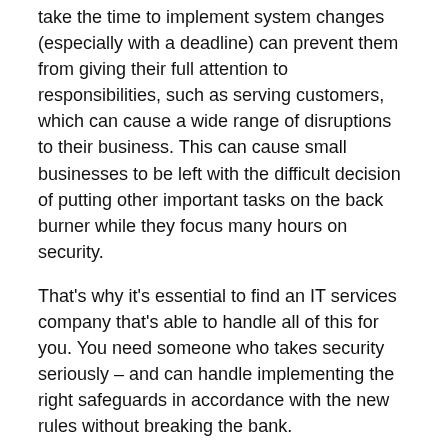take the time to implement system changes (especially with a deadline) can prevent them from giving their full attention to responsibilities, such as serving customers, which can cause a wide range of disruptions to their business. This can cause small businesses to be left with the difficult decision of putting other important tasks on the back burner while they focus many hours on security.
That's why it's essential to find an IT services company that's able to handle all of this for you. You need someone who takes security seriously – and can handle implementing the right safeguards in accordance with the new rules without breaking the bank.
Everything Has a Cost
It is extremely important that businesses be aware of the security compliance costs associated with negotiating contracts, both government and otherwise. This reigns especially true for DOD contractors and